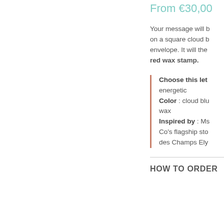From €30,00
Your message will be written on a square cloud b... envelope. It will the... red wax stamp.
Choose this let... energetic
Color : cloud blu... wax
Inspired by : Ms... Co's flagship sto... des Champs Ely...
HOW TO ORDER